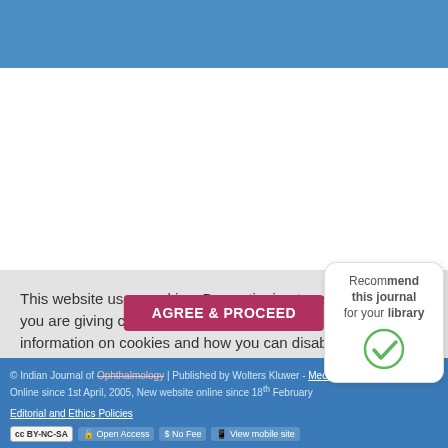This website uses cookies. By continuing to use this website you are giving consent to cookies being used. For information on cookies and how you can disable them visit our
Privacy and Cookie Policy.
[Figure (other): Recommend this journal for your library button with green checkmark icon]
AGREE & PROCEED
© Indian Journal of Ophthalmology | Published by Wolters Kluwer - Medknow Online since 1st April, 2005, New website online since 18th February
Editorial and Ethics Policies
[Figure (other): CC BY-NC-SA license badge, Open Access badge, No Fee badge, View mobile site badge]